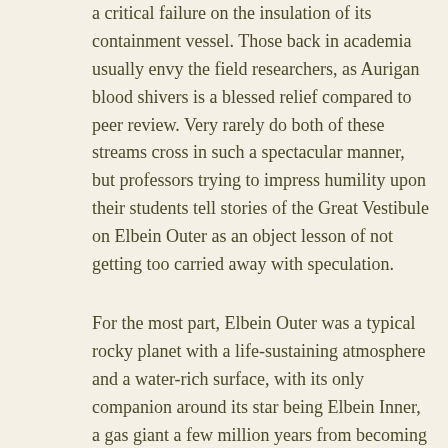a critical failure on the insulation of its containment vessel. Those back in academia usually envy the field researchers, as Aurigan blood shivers is a blessed relief compared to peer review. Very rarely do both of these streams cross in such a spectacular manner, but professors trying to impress humility upon their students tell stories of the Great Vestibule on Elbein Outer as an object lesson of not getting too carried away with speculation.
For the most part, Elbein Outer was a typical rocky planet with a life-sustaining atmosphere and a water-rich surface, with its only companion around its star being Elbein Inner, a gas giant a few million years from becoming part of that star's hydrogen reserve. Elbein Inner and its former brethren left the system remarkably cleaned before they either crashed